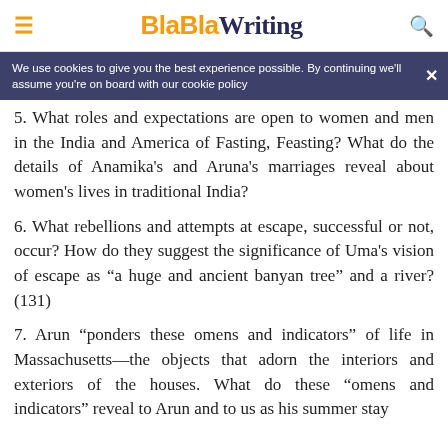BlaBlaWriting
We use cookies to give you the best experience possible. By continuing we'll assume you're on board with our cookie policy
5. What roles and expectations are open to women and men in the India and America of Fasting, Feasting? What do the details of Anamika's and Aruna's marriages reveal about women's lives in traditional India?
6. What rebellions and attempts at escape, successful or not, occur? How do they suggest the significance of Uma's vision of escape as “a huge and ancient banyan tree” and a river? (131)
7. Arun “ponders these omens and indicators” of life in Massachusetts—the objects that adorn the interiors and exteriors of the houses. What do these “omens and indicators” reveal to Arun and to us as his summer stay